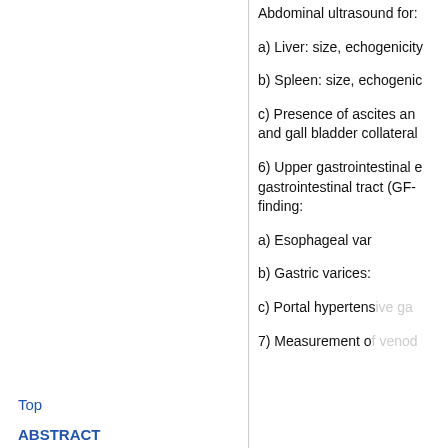Abdominal ultrasound for:
a) Liver: size, echogenicity
b) Spleen: size, echogenic
c) Presence of ascites and and gall bladder collateral
6) Upper gastrointestinal gastrointestinal tract (GF- finding:
a) Esophageal varices
b) Gastric varices:
c) Portal hypertensive ga
7) Measurement of venous
Top
ABSTRACT
Introduction
Results
Discussion
Conclusion
Conflict of Interests
References